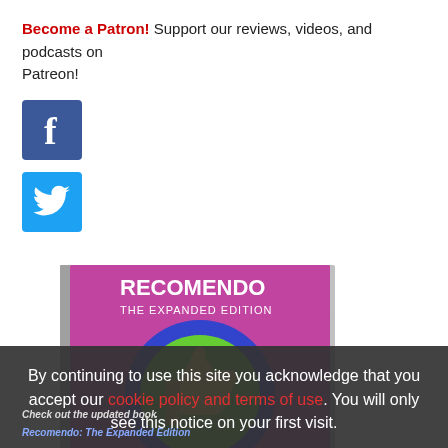Become a Patron! Support our reviews, videos, and podcasts on Patreon!
[Figure (logo): Facebook social media icon - blue square with white letter f]
[Figure (logo): Twitter social media icon - blue square with white bird logo]
[Figure (photo): Book cover of Recomendo: The Expanded Edition, showing a purple/blue cover with a green circle containing a yellow thumbs-up illustration]
By continuing to use this site you acknowledge that you accept our cookie policy and terms of use. You will only see this notice on your first visit.
Check out the updated book Recomendo: The Expanded Edition